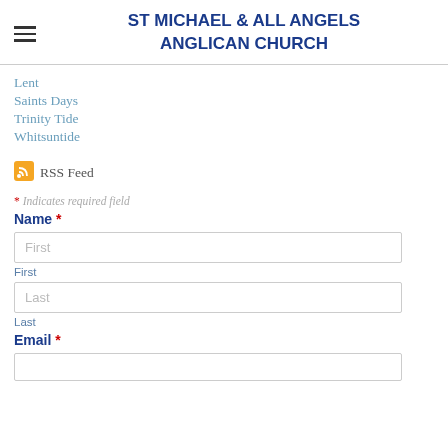ST MICHAEL & ALL ANGELS ANGLICAN CHURCH
Lent
Saints Days
Trinity Tide
Whitsuntide
[Figure (other): RSS Feed icon - orange square with white radio wave symbol]
RSS Feed
* Indicates required field
Name *
First (input placeholder)
First
Last (input placeholder)
Last
Email *
(email input field)